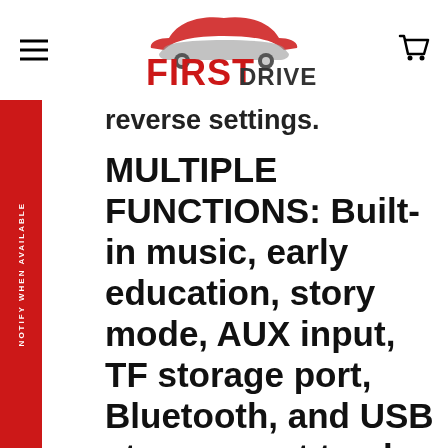FIRST DRIVE (logo with car icon)
reverse settings.
MULTIPLE FUNCTIONS: Built-in music, early education, story mode, AUX input, TF storage port, Bluetooth, and USB storage port to play your own music. Built-in horn, LED lights